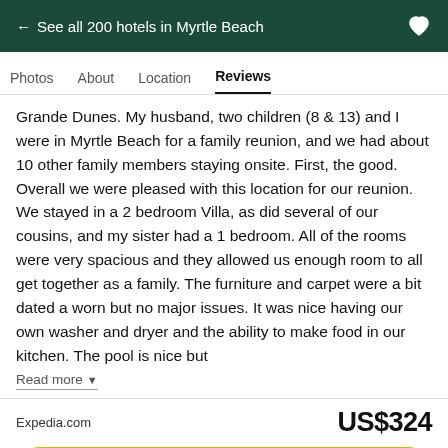← See all 200 hotels in Myrtle Beach
Photos  About  Location  Reviews
Grande Dunes. My husband, two children (8 & 13) and I were in Myrtle Beach for a family reunion, and we had about 10 other family members staying onsite. First, the good. Overall we were pleased with this location for our reunion. We stayed in a 2 bedroom Villa, as did several of our cousins, and my sister had a 1 bedroom. All of the rooms were very spacious and they allowed us enough room to all get together as a family. The furniture and carpet were a bit dated a worn but no major issues. It was nice having our own washer and dryer and the ability to make food in our kitchen. The pool is nice but
Read more ▾
Expedia.com
US$324
View deal
🏷 Special offer